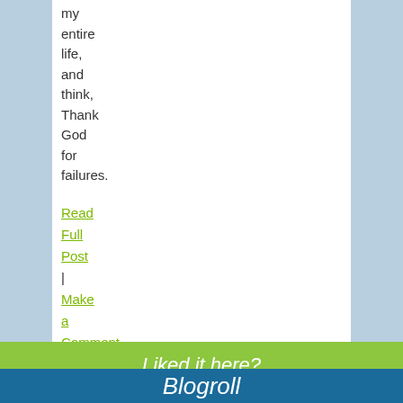my entire life, and think, Thank God for failures.
Read Full Post | Make a Comment ( None so far )
Liked it here?
Why not try sites on the blogroll...
Blogroll